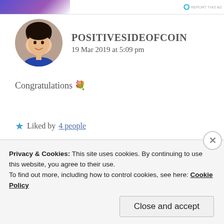[Figure (other): Top advertisement banner with purple/gradient strip on left and report-this-ad icon on right]
[Figure (photo): Circular avatar portrait of a woman with dark hair, smiling, wearing blue]
POSITIVESIDEOFCOIN
19 Mar 2019 at 5:09 pm
Congratulations 💐
★ Liked by 4 people
REPLY
Privacy & Cookies: This site uses cookies. By continuing to use this website, you agree to their use.
To find out more, including how to control cookies, see here: Cookie Policy
Close and accept